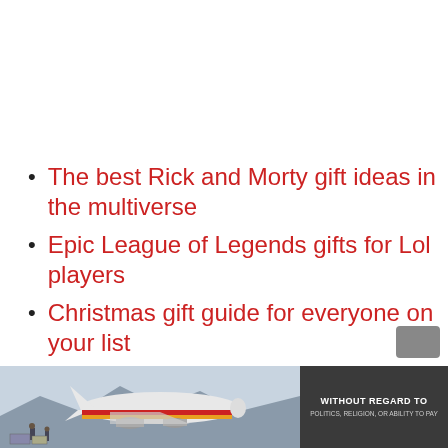The best Rick and Morty gift ideas in the multiverse
Epic League of Legends gifts for Lol players
Christmas gift guide for everyone on your list
Awesome gift ideas for men
Gift ideas for someone who plays
[Figure (photo): Cargo airplane on tarmac with freight being loaded, yellow/red livery visible]